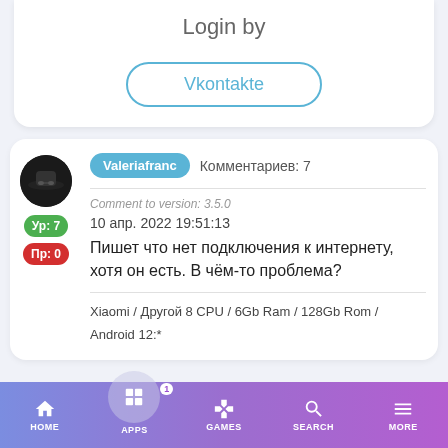Login by
Vkontakte
Valeriafranc   Комментариев: 7
Comment to version: 3.5.0
10 апр. 2022 19:51:13
Пишет что нет подключения к интернету, хотя он есть. В чём-то проблема?
Xiaomi / Другой 8 CPU / 6Gb Ram / 128Gb Rom / Android 12:*
HOME   APPS   GAMES   SEARCH   MORE